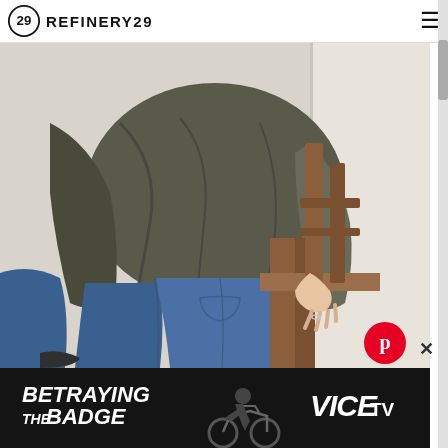REFINERY29
[Figure (photo): Person wearing an olive/dark grey long-sleeve draped top and blue wide-leg jeans, sitting on a wooden chair or bench. The image is cropped to show the torso, legs, and hands. The person wears a ring on their right hand.]
[Figure (logo): Pinterest logo button (red circle with white P icon)]
[Figure (infographic): Advertisement banner for 'Betraying The Badge' on VICE TV, showing text and a silhouette of a person on a motorcycle against a dark background.]